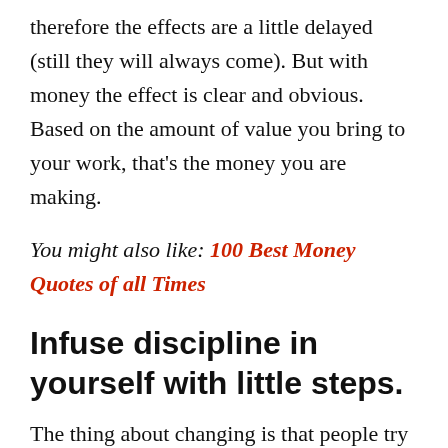therefore the effects are a little delayed (still they will always come). But with money the effect is clear and obvious. Based on the amount of value you bring to your work, that's the money you are making.
You might also like: 100 Best Money Quotes of all Times
Infuse discipline in yourself with little steps.
The thing about changing is that people try too much in too short time. For example: let's say that you wasted time all the summer doing